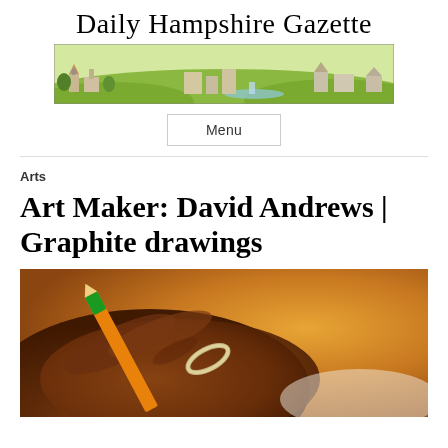Daily Hampshire Gazette
[Figure (illustration): Panoramic illustration of a New England town skyline with churches, buildings, hills, and a river]
Menu
Arts
Art Maker: David Andrews | Graphite drawings
[Figure (photo): Close-up photograph of a dark-skinned hand holding an orange pencil with a green eraser, wearing a silver ring, drawing on paper]